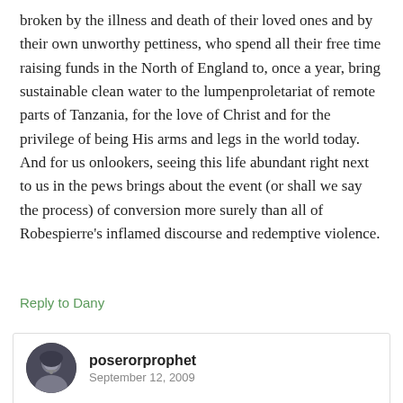broken by the illness and death of their loved ones and by their own unworthy pettiness, who spend all their free time raising funds in the North of England to, once a year, bring sustainable clean water to the lumpenproletariat of remote parts of Tanzania, for the love of Christ and for the privilege of being His arms and legs in the world today. And for us onlookers, seeing this life abundant right next to us in the pews brings about the event (or shall we say the process) of conversion more surely than all of Robespierre's inflamed discourse and redemptive violence.
Reply to Dany
poserorprophet
September 12, 2009
This is a really fucking great comment. Thanks, Dany!
Reply to poserorprophet